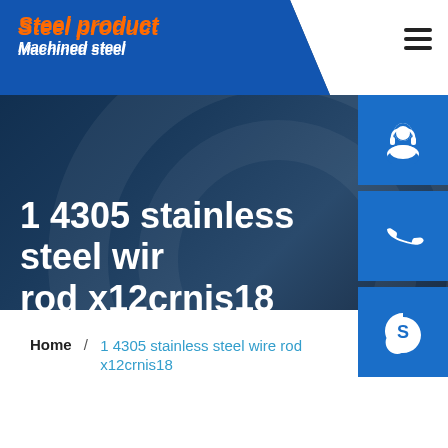Steel product / Machined steel
1 4305 stainless steel wire rod x12crnis18
Home / 1 4305 stainless steel wire rod x12crnis18